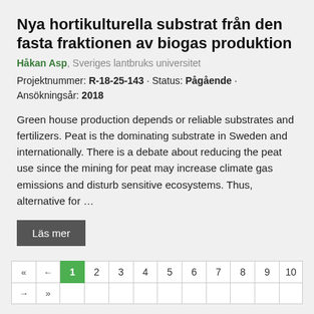Nya hortikulturella substrat från den fasta fraktionen av biogas produktion
Håkan Asp, Sveriges lantbruks universitet
Projektnummer: R-18-25-143 · Status: Pågående · Ansökningsår: 2018
Green house production depends or reliable substrates and fertilizers. Peat is the dominating substrate in Sweden and internationally. There is a debate about reducing the peat use since the mining for peat may increase climate gas emissions and disturb sensitive ecosystems. Thus, alternative for …
Läs mer
« ← 1 2 3 4 5 6 7 8 9 10 → »